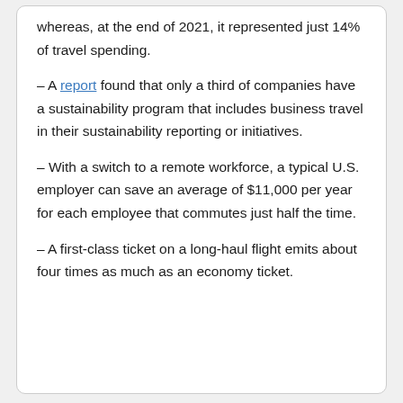whereas, at the end of 2021, it represented just 14% of travel spending.
– A report found that only a third of companies have a sustainability program that includes business travel in their sustainability reporting or initiatives.
– With a switch to a remote workforce, a typical U.S. employer can save an average of $11,000 per year for each employee that commutes just half the time.
– A first-class ticket on a long-haul flight emits about four times as much as an economy ticket.